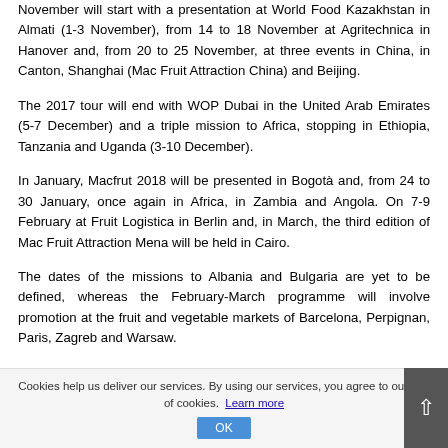November will start with a presentation at World Food Kazakhstan in Almati (1-3 November), from 14 to 18 November at Agritechnica in Hanover and, from 20 to 25 November, at three events in China, in Canton, Shanghai (Mac Fruit Attraction China) and Beijing.
The 2017 tour will end with WOP Dubai in the United Arab Emirates (5-7 December) and a triple mission to Africa, stopping in Ethiopia, Tanzania and Uganda (3-10 December).
In January, Macfrut 2018 will be presented in Bogotà and, from 24 to 30 January, once again in Africa, in Zambia and Angola. On 7-9 February at Fruit Logistica in Berlin and, in March, the third edition of Mac Fruit Attraction Mena will be held in Cairo.
The dates of the missions to Albania and Bulgaria are yet to be defined, whereas the February-March programme will involve promotion at the fruit and vegetable markets of Barcelona, Perpignan, Paris, Zagreb and Warsaw.
Cookies help us deliver our services. By using our services, you agree to our use of cookies. Learn more  OK